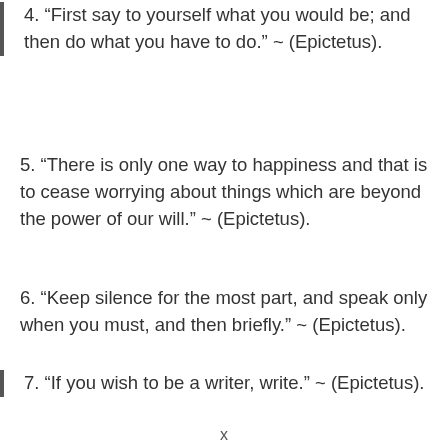4. “First say to yourself what you would be; and then do what you have to do.” ~ (Epictetus).
5. “There is only one way to happiness and that is to cease worrying about things which are beyond the power of our will.” ~ (Epictetus).
6. “Keep silence for the most part, and speak only when you must, and then briefly.” ~ (Epictetus).
7. “If you wish to be a writer, write.” ~ (Epictetus).
x